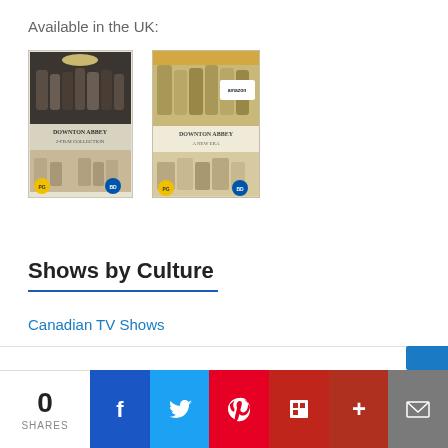Available in the UK:
[Figure (photo): Downton Abbey 2-Film Collection DVD cover — group cast photo top, title in middle, second group photo bottom, yellow rating badge bottom left]
[Figure (photo): Downton Abbey A New Era DVD cover — cast photo top, title in middle, second scene bottom, yellow rating badge bottom left]
Shows by Culture
Canadian TV Shows
0 SHARES | Facebook | Twitter | Pinterest | Flipboard | More | Email